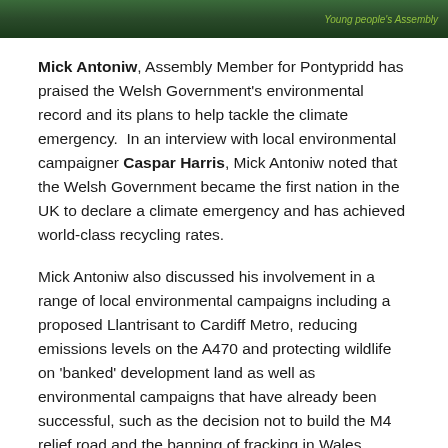[Figure (photo): Dark green banner image strip at top of page, partially visible photo with green text partially visible on right side]
Mick Antoniw, Assembly Member for Pontypridd has praised the Welsh Government's environmental record and its plans to help tackle the climate emergency.  In an interview with local environmental campaigner Caspar Harris, Mick Antoniw noted that the Welsh Government became the first nation in the UK to declare a climate emergency and has achieved world-class recycling rates.
Mick Antoniw also discussed his involvement in a range of local environmental campaigns including a proposed Llantrisant to Cardiff Metro, reducing emissions levels on the A470 and protecting wildlife on 'banked' development land as well as environmental campaigns that have already been successful, such as the decision not to build the M4 relief road and the banning of fracking in Wales.